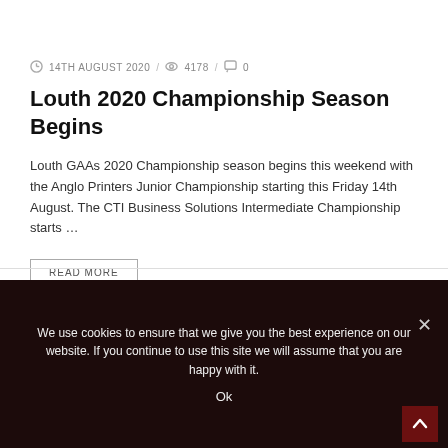14TH AUGUST 2020 / 4178 / 0
Louth 2020 Championship Season Begins
Louth GAAs 2020 Championship season begins this weekend with the Anglo Printers Junior Championship starting this Friday 14th August. The CTI Business Solutions Intermediate Championship starts …
READ MORE
COUNTY   FIXTURES & RESULTS
We use cookies to ensure that we give you the best experience on our website. If you continue to use this site we will assume that you are happy with it.
Ok